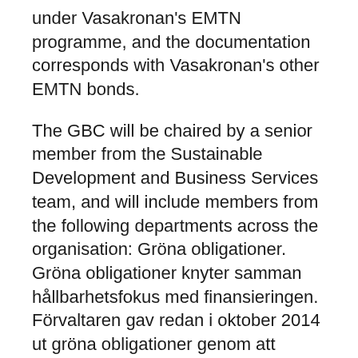under Vasakronan's EMTN programme, and the documentation corresponds with Vasakronan's other EMTN bonds.
The GBC will be chaired by a senior member from the Sustainable Development and Business Services team, and will include members from the following departments across the organisation: Gröna obligationer. Gröna obligationer knyter samman hållbarhetsfokus med finansieringen. Förvaltaren gav redan i oktober 2014 ut gröna obligationer genom att finansiera ombyggnationen av kvarteret Banken vid Sundbybergs torg med 212 lägenheter. Huset klassas som miljöbyggnad silver. Outstanding green bonds currently account for more than half of Ørsted's total bond portfolio. Our 'Green finance framework' has been developed in